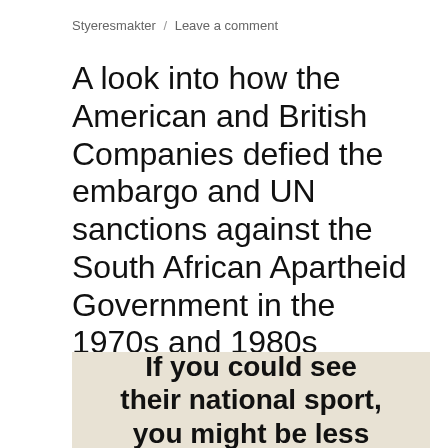Styeresmakter / Leave a comment
A look into how the American and British Companies defied the embargo and UN sanctions against the South African Apartheid Government in the 1970s and 1980s
[Figure (photo): Image of a printed advertisement or newspaper clipping with bold text reading: 'If you could see their national sport, you might be less']